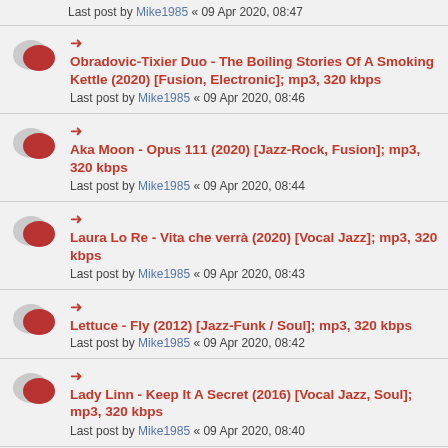Last post by Mike1985 « 09 Apr 2020, 08:47
Obradovic-Tixier Duo - The Boiling Stories Of A Smoking Kettle (2020) [Fusion, Electronic]; mp3, 320 kbps
Last post by Mike1985 « 09 Apr 2020, 08:46
Aka Moon - Opus 111 (2020) [Jazz-Rock, Fusion]; mp3, 320 kbps
Last post by Mike1985 « 09 Apr 2020, 08:44
Laura Lo Re - Vita che verrà (2020) [Vocal Jazz]; mp3, 320 kbps
Last post by Mike1985 « 09 Apr 2020, 08:43
Lettuce - Fly (2012) [Jazz-Funk / Soul]; mp3, 320 kbps
Last post by Mike1985 « 09 Apr 2020, 08:42
Lady Linn - Keep It A Secret (2016) [Vocal Jazz, Soul]; mp3, 320 kbps
Last post by Mike1985 « 09 Apr 2020, 08:40
Lady Linn - High (2014) [Vocal Jazz, Soul]; mp3, 320...